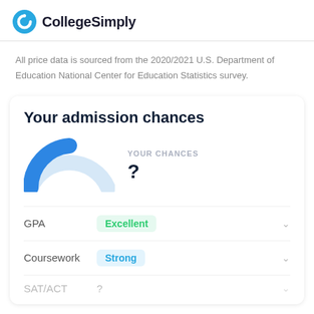CollegeSimply
All price data is sourced from the 2020/2021 U.S. Department of Education National Center for Education Statistics survey.
Your admission chances
[Figure (donut-chart): A half-donut/gauge chart showing admission chances. The left portion is filled in solid blue, and the right lighter blue/grey segment represents the remainder. The filled blue arc covers roughly 40-45% of the gauge.]
YOUR CHANCES
?
GPA  Excellent
Coursework  Strong
SAT/ACT  ?